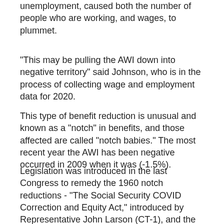unemployment, caused both the number of people who are working, and wages, to plummet.
"This may be pulling the AWI down into negative territory" said Johnson, who is in the process of collecting wage and employment data for 2020.
This type of benefit reduction is unusual and known as a "notch" in benefits, and those affected are called "notch babies." The most recent year the AWI has been negative occurred in 2009 when it was (-1.5%).
Legislation was introduced in the last Congress to remedy the 1960 notch reductions - "The Social Security COVID Correction and Equity Act," introduced by Representative John Larson (CT-1), and the "Protecting Benefits for Retirees Act," introduced by Senators Tim Kaine (VA) and Bill Cassidy (LA).